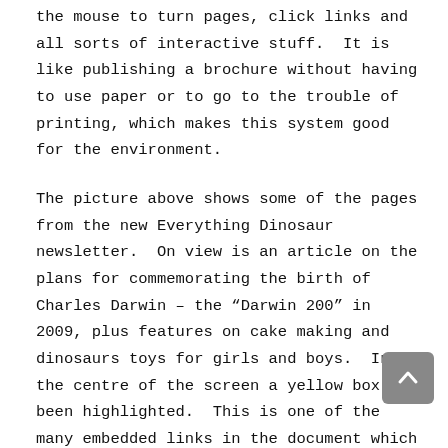the mouse to turn pages, click links and all sorts of interactive stuff.  It is like publishing a brochure without having to use paper or to go to the trouble of printing, which makes this system good for the environment.
The picture above shows some of the pages from the new Everything Dinosaur newsletter.  On view is an article on the plans for commemorating the birth of Charles Darwin – the "Darwin 200" in 2009, plus features on cake making and dinosaurs toys for girls and boys.  In the centre of the screen a yellow box has been highlighted.  This is one of the many embedded links in the document which when clicked will take readers to related information – really cool.  The controls for navigating around the newsletter are easy to master and this does represent a great way to keep